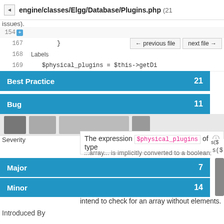engine/classes/Elgg/Database/Plugins.php (21 issues).
154 [+]
167    }
168
169    $physical_plugins = $this->getDi
Best Practice  21
Bug  11
Severity
The expression $physical_plugins of type
...array... is implicitly converted to a boolean; are you
Major  7
Minor  14
intend to check for an array without elements.
Introduced By
Evan Winslow  20
jdalsem  1